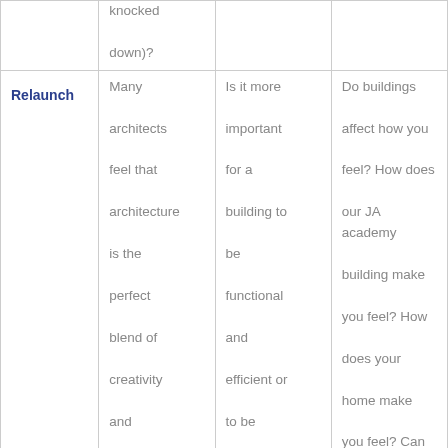|  |  |  |  |
| --- | --- | --- | --- |
|  | knocked down)? |  |  |
| Relaunch | Many architects feel that architecture is the perfect blend of creativity and technicality. Which do you think | Is it more important for a building to be functional and efficient or to be beautiful and visually | Do buildings affect how you feel? How does our JA academy building make you feel? How does your home make you feel? Can you remember a time when a building made |